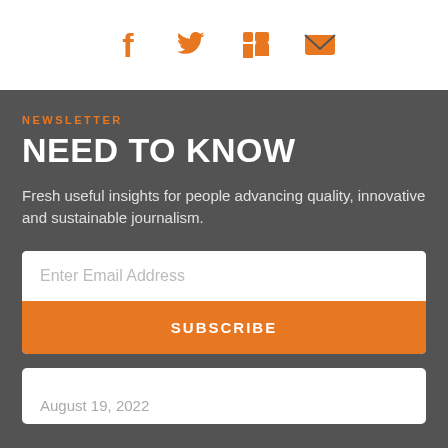[Figure (other): Social media icons: Facebook, Twitter, LinkedIn, Email — displayed in orange]
NEWSLETTER
NEED TO KNOW
Fresh useful insights for people advancing quality, innovative and sustainable journalism.
Enter Email Address
SUBSCRIBE
August 19, 2022